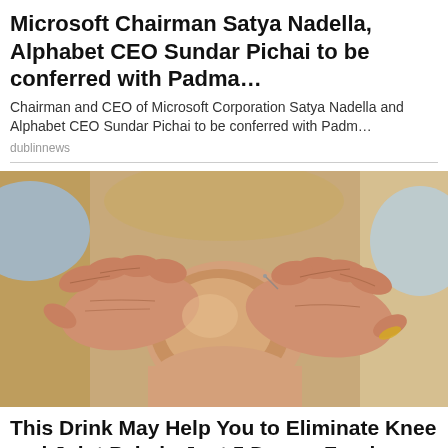Microsoft Chairman Satya Nadella, Alphabet CEO Sundar Pichai to be conferred with Padma…
Chairman and CEO of Microsoft Corporation Satya Nadella and Alphabet CEO Sundar Pichai to be conferred with Padm…
dublinnews
[Figure (photo): Close-up of elderly person's hands clasped around a knee, suggesting joint pain or arthritis]
This Drink May Help You to Eliminate Knee and Joint Pain in Just 5 Days – Food Prevent